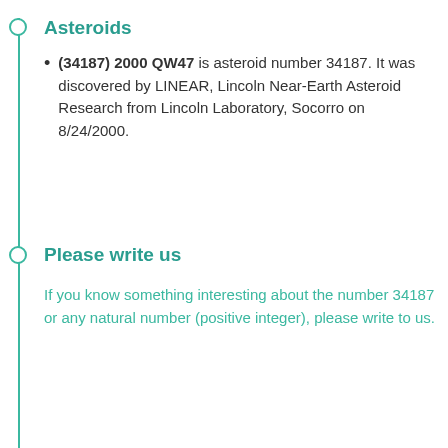Asteroids
(34187) 2000 QW47 is asteroid number 34187. It was discovered by LINEAR, Lincoln Near-Earth Asteroid Research from Lincoln Laboratory, Socorro on 8/24/2000.
Please write us
If you know something interesting about the number 34187 or any natural number (positive integer), please write to us.